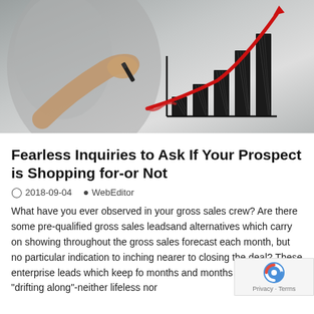[Figure (photo): Person drawing a bar chart with a rising red trend line on a glass surface, showing increasing bar heights from left to right with a red upward arrow]
Fearless Inquiries to Ask If Your Prospect is Shopping for-or Not
2018-09-04   WebEditor
What have you ever observed in your gross sales crew? Are there some pre-qualified gross sales leadsand alternatives which carry on showing throughout the gross sales forecast each month, but no particular indication to inching nearer to closing the deal? These enterprise leads which keep fo months and months are merely "drifting along"-neither lifeless nor